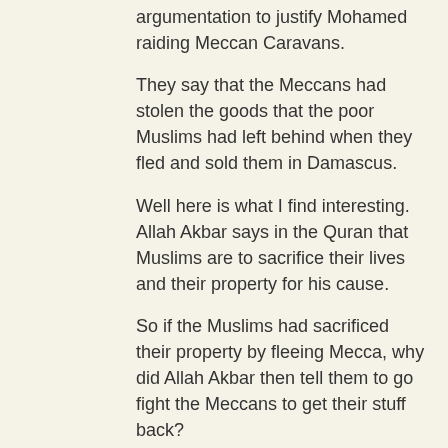argumentation to justify Mohamed raiding Meccan Caravans.
They say that the Meccans had stolen the goods that the poor Muslims had left behind when they fled and sold them in Damascus.
Well here is what I find interesting. Allah Akbar says in the Quran that Muslims are to sacrifice their lives and their property for his cause.
So if the Muslims had sacrificed their property by fleeing Mecca, why did Allah Akbar then tell them to go fight the Meccans to get their stuff back?
July 24, 2014 at 1:24 PM
Joseph said...
This comment has been removed by the author.
July 24, 2014 at 6:08 PM
Tom said...